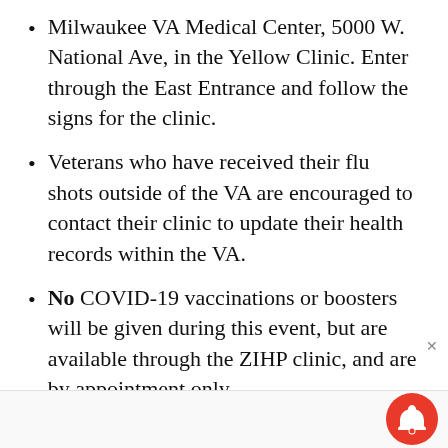Milwaukee VA Medical Center, 5000 W. National Ave, in the Yellow Clinic. Enter through the East Entrance and follow the signs for the clinic.
Veterans who have received their flu shots outside of the VA are encouraged to contact their clinic to update their health records within the VA.
No COVID-19 vaccinations or boosters will be given during this event, but are available through the ZIHP clinic, and are by appointment only.